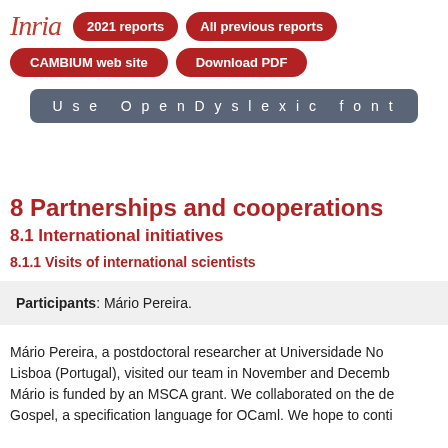Inria | 2021 reports | All previous reports | CAMBIUM web site | Download PDF | Use OpenDyslexic font
8 Partnerships and cooperations
8.1 International initiatives
8.1.1 Visits of international scientists
Participants: Mário Pereira.
Mário Pereira, a postdoctoral researcher at Universidade No... Lisboa (Portugal), visited our team in November and Decemb... Mário is funded by an MSCA grant. We collaborated on the de... Gospel, a specification language for OCaml. We hope to conti...